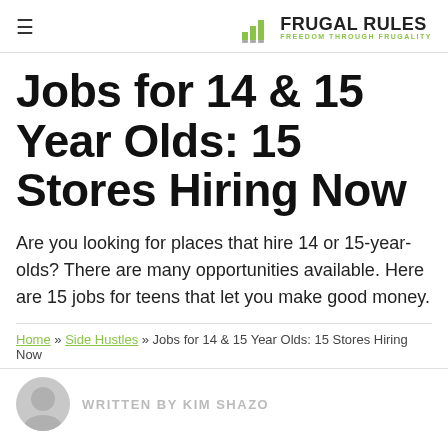FRUGAL RULES — FREEDOM THROUGH FRUGALITY
Jobs for 14 & 15 Year Olds: 15 Stores Hiring Now
Are you looking for places that hire 14 or 15-year-olds? There are many opportunities available. Here are 15 jobs for teens that let you make good money.
Home » Side Hustles » Jobs for 14 & 15 Year Olds: 15 Stores Hiring Now
WRITTEN BY KIM SHAZO